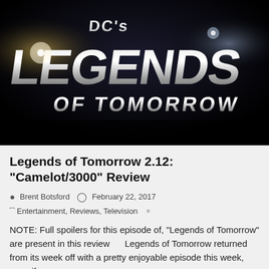[Figure (photo): DC's Legends of Tomorrow TV show logo on a dark/black background with dramatic metallic lettering]
Legends of Tomorrow 2.12: “Camelot/3000” Review
Brent Botsford  February 22, 2017
Entertainment, Reviews, Television
NOTE: Full spoilers for this episode of, "Legends of Tomorrow" are present in this review      Legends of Tomorrow returned from its week off with a pretty enjoyable episode this week, even if...